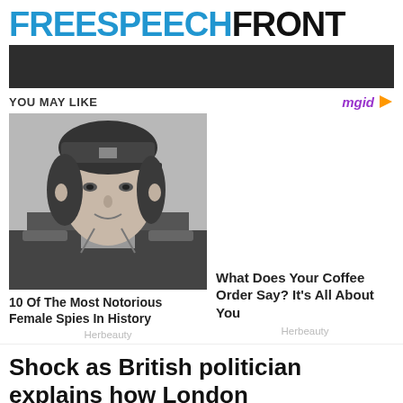FREESPEECHFRONT
[Figure (other): Dark advertisement banner]
YOU MAY LIKE
[Figure (photo): Black and white photo of a woman in military uniform and cap, smiling slightly]
10 Of The Most Notorious Female Spies In History
Herbeauty
What Does Your Coffee Order Say? It's All About You
Herbeauty
Shock as British politician explains how London Metropolitan Police "Bow To Islam"